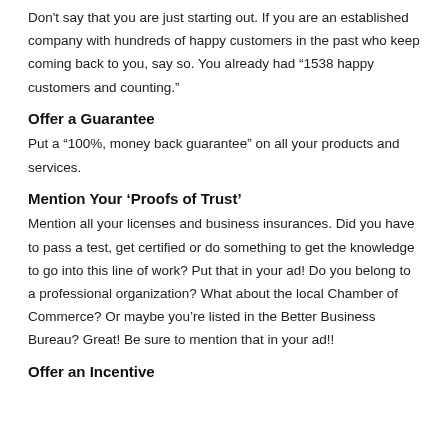Don't say that you are just starting out. If you are an established company with hundreds of happy customers in the past who keep coming back to you, say so. You already had “1538 happy customers and counting.”
Offer a Guarantee
Put a “100%, money back guarantee” on all your products and services.
Mention Your ‘Proofs of Trust’
Mention all your licenses and business insurances. Did you have to pass a test, get certified or do something to get the knowledge to go into this line of work? Put that in your ad! Do you belong to a professional organization? What about the local Chamber of Commerce? Or maybe you’re listed in the Better Business Bureau? Great! Be sure to mention that in your ad!!
Offer an Incentive